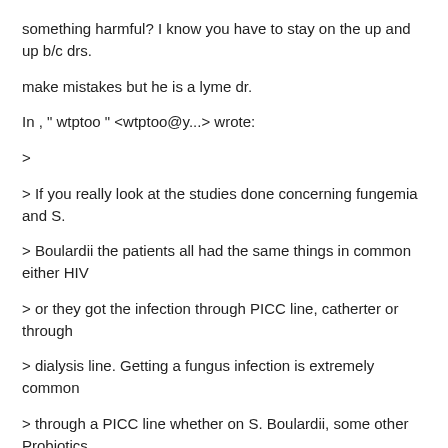something harmful? I know you have to stay on the up and up b/c drs.
make mistakes but he is a lyme dr.
In , " wtptoo " <wtptoo@y...> wrote:
>
> If you really look at the studies done concerning fungemia and S.
> Boulardii the patients all had the same things in common either HIV
> or they got the infection through PICC line, catherter or through
> dialysis line. Getting a fungus infection is extremely common
> through a PICC line whether on S. Boulardii, some other Probiotics
> or no probiotic.
>
> Saccharomyces Boulardii is a sub-species of Saccharomyces